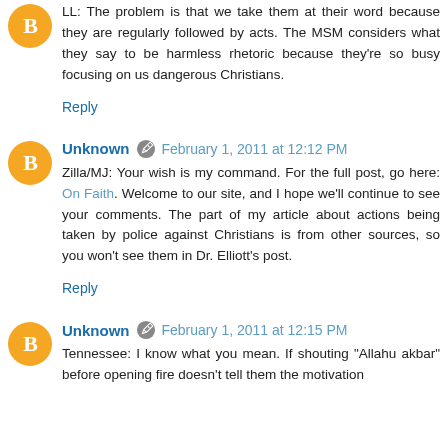LL: The problem is that we take them at their word because they are regularly followed by acts. The MSM considers what they say to be harmless rhetoric because they're so busy focusing on us dangerous Christians.
Reply
Unknown  February 1, 2011 at 12:12 PM
Zilla/MJ: Your wish is my command. For the full post, go here: On Faith. Welcome to our site, and I hope we'll continue to see your comments. The part of my article about actions being taken by police against Christians is from other sources, so you won't see them in Dr. Elliott's post.
Reply
Unknown  February 1, 2011 at 12:15 PM
Tennessee: I know what you mean. If shouting "Allahu akbar" before opening fire doesn't tell them the motivation